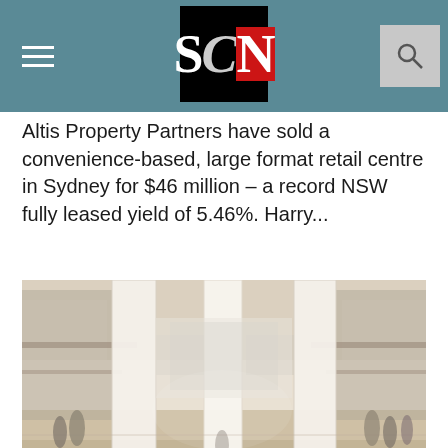SCN (Shopping Centre News) website header with hamburger menu, SCN logo, and search icon
Altis Property Partners have sold a convenience-based, large format retail centre in Sydney for $46 million – a record NSW fully leased yield of 5.46%. Harry...
[Figure (photo): Interior rendering of a modern multi-level shopping centre atrium with large white columns, open floor plan, people walking, and warm neutral tones]
INDUSTRY NEWS · DEVELOPMENT
CBUS Property reveals